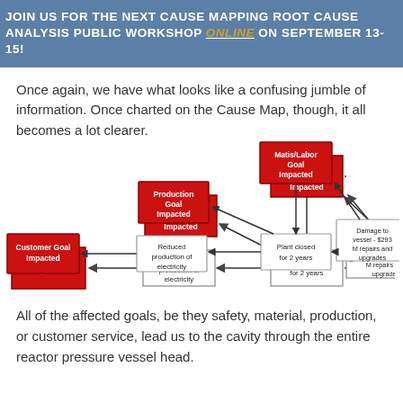JOIN US FOR THE NEXT CAUSE MAPPING ROOT CAUSE ANALYSIS PUBLIC WORKSHOP ONLINE ON SEPTEMBER 13-15!
Once again, we have what looks like a confusing jumble of information. Once charted on the Cause Map, though, it all becomes a lot clearer.
[Figure (flowchart): Cause Map flowchart showing: Customer Goal Impacted <- Reduced production of electricity <- Production Goal Impacted (red box) and Plant closed for 2 years <- Matis/Labor Goal Impacted (red box) <- Damage to vessel - $293 M repairs and upgrades <- Cavity through entire reactor pressure vessel head.]
All of the affected goals, be they safety, material, production, or customer service, lead us to the cavity through the entire reactor pressure vessel head.